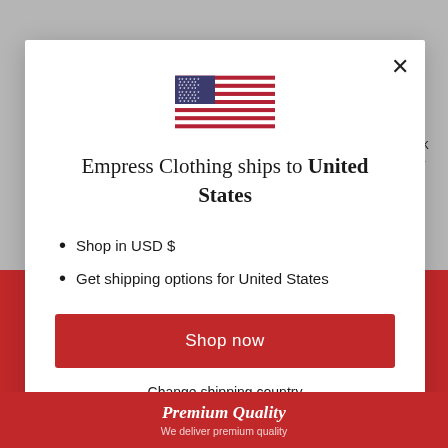[Figure (screenshot): A modal dialog popup on an e-commerce website showing a US flag, shipping destination message, bullet points, and a Shop now button]
Empress Clothing ships to United States
Shop in USD $
Get shipping options for United States
Shop now
Change shipping country
Premium Quality
We deliver premium quality